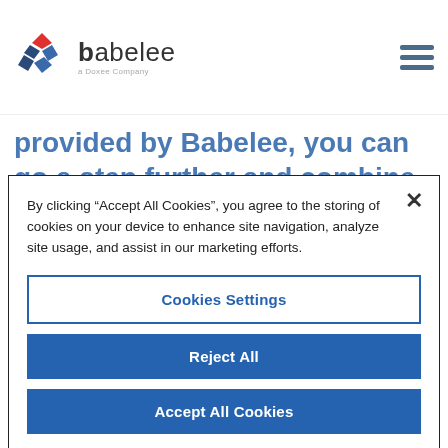babelee — a Doxee Company
provided by Babelee, you can go a step further and combine data visualization with the effectiveness of video
By clicking “Accept All Cookies”, you agree to the storing of cookies on your device to enhance site navigation, analyze site usage, and assist in our marketing efforts.
Cookies Settings
Reject All
Accept All Cookies